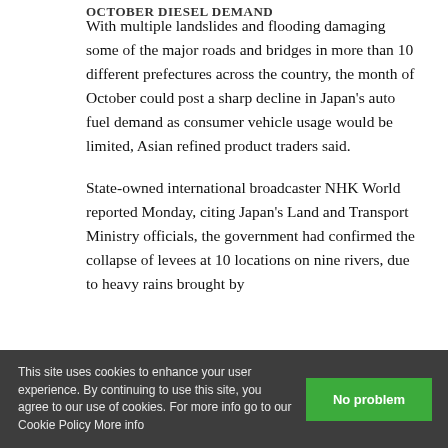OCTOBER DIESEL DEMAND
With multiple landslides and flooding damaging some of the major roads and bridges in more than 10 different prefectures across the country, the month of October could post a sharp decline in Japan's auto fuel demand as consumer vehicle usage would be limited, Asian refined product traders said.
State-owned international broadcaster NHK World reported Monday, citing Japan's Land and Transport Ministry officials, the government had confirmed the collapse of levees at 10 locations on nine rivers, due to heavy rains brought by
This site uses cookies to enhance your user experience. By continuing to use this site, you agree to our use of cookies. For more info go to our Cookie Policy More info